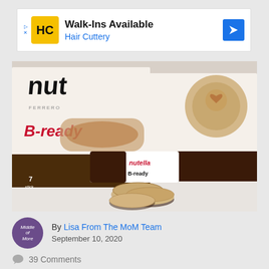[Figure (infographic): Advertisement banner for Hair Cuttery salon with yellow HC logo, text 'Walk-Ins Available' and 'Hair Cuttery', and a blue navigation arrow icon on the right]
[Figure (photo): Photo of Nutella B-ready product boxes and individual packaged cookies/biscuits on a white countertop. Shows 'nutella FERRERO B-ready' packaging with 7-stick pack and individual Nutella B-ready wrapper with round sandwich cookies.]
By Lisa From The MoM Team
September 10, 2020
39 Comments